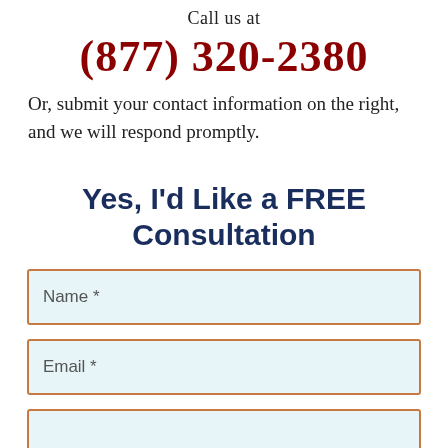Call us at
(877) 320-2380
Or, submit your contact information on the right, and we will respond promptly.
Yes, I'd Like a FREE Consultation
Name *
Email *